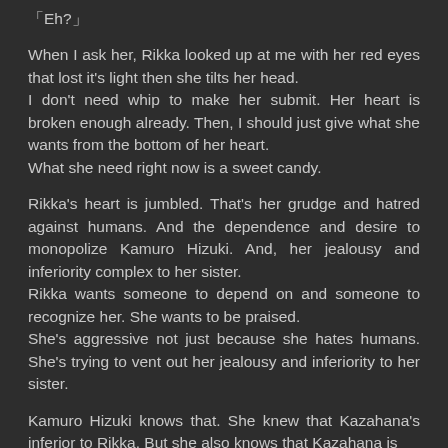「Eh?」
When I ask her, Rikka looked up at me with her red eyes that lost it's light then she tilts her head.
I don't need whip to make her submit. Her heart is broken enough already. Then, I should just give what she wants from the bottom of her heart.
What she need right now is a sweet candy.
Rikka's heart is jumbled. That's her grudge and hatred against humans. And the dependence and desire to monopolize Kamuro Hizuki. And, her jealousy and inferiority complex to her sister.
Rikka wants someone to depend on and someone to recognize her. She wants to be praised.
She's aggressive not just because she hates humans. She's trying to vent out her jealousy and inferiority to her sister.
Kamuro Hizuki knows that. She knew that Kazahana's inferior to Rikka. But she also knows that Kazahana is